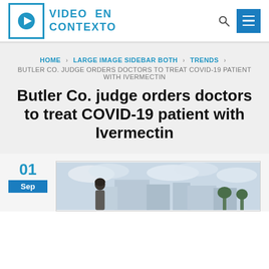VIDEO EN CONTEXTO
HOME > LARGE IMAGE SIDEBAR BOTH > TRENDS > BUTLER CO. JUDGE ORDERS DOCTORS TO TREAT COVID-19 PATIENT WITH IVERMECTIN
Butler Co. judge orders doctors to treat COVID-19 patient with Ivermectin
01 Sep
[Figure (photo): Photo of a woman standing outside a building with cloudy sky in background]